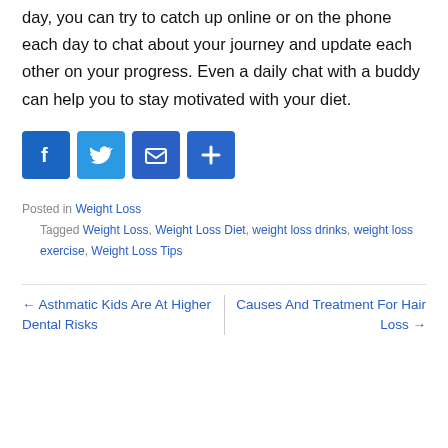Even if you can't exercise with your buddy every day, you can try to catch up online or on the phone each day to chat about your journey and update each other on your progress. Even a daily chat with a buddy can help you to stay motivated with your diet.
[Figure (infographic): Social share buttons: Facebook (blue), Twitter (light blue), Email (blue), Share/Plus (blue)]
Posted in Weight Loss
Tagged Weight Loss, Weight Loss Diet, weight loss drinks, weight loss exercise, Weight Loss Tips
← Asthmatic Kids Are At Higher Dental Risks   Causes And Treatment For Hair Loss →